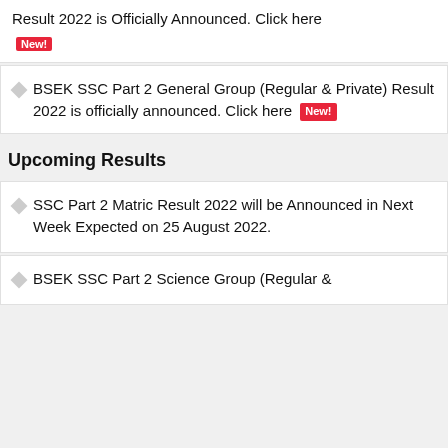Result 2022 is Officially Announced. Click here [New!]
BSEK SSC Part 2 General Group (Regular & Private) Result 2022 is officially announced. Click here [New!]
Upcoming Results
SSC Part 2 Matric Result 2022 will be Announced in Next Week Expected on 25 August 2022.
BSEK SSC Part 2 Science Group (Regular &